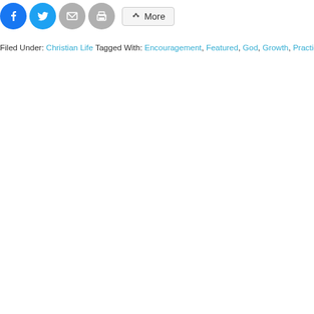[Figure (other): Social share buttons: Facebook (blue circle), Twitter (blue circle), Email (gray circle), Print (gray circle), and a More button with share icon]
Filed Under: Christian Life Tagged With: Encouragement, Featured, God, Growth, Practice